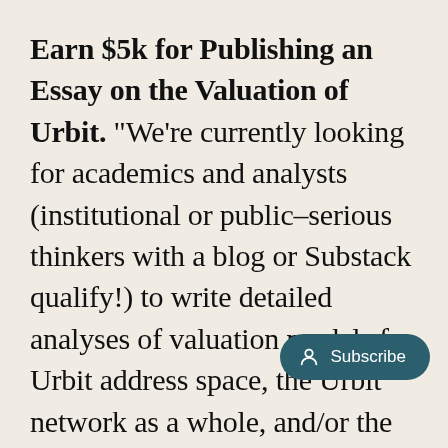Earn $5k for Publishing an Essay on the Valuation of Urbit. "We're currently looking for academics and analysts (institutional or public–serious thinkers with a blog or Substack qualify!) to write detailed analyses of valuation models for Urbit address space, the Urbit network as a whole, and/or the economic/commercial [value] such. This could be an extrapolation of...